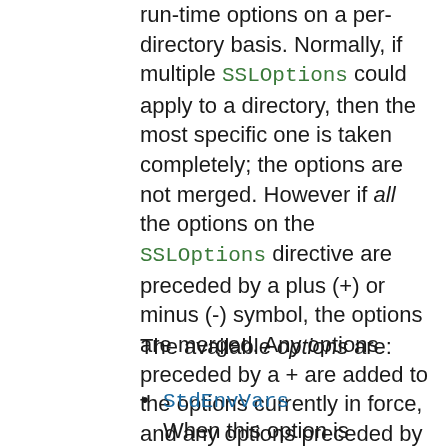run-time options on a per-directory basis. Normally, if multiple SSLOptions could apply to a directory, then the most specific one is taken completely; the options are not merged. However if all the options on the SSLOptions directive are preceded by a plus (+) or minus (-) symbol, the options are merged. Any options preceded by a + are added to the options currently in force, and any options preceded by a - are removed from the options currently in force.
The available options are:
StdEnvVars When this option is